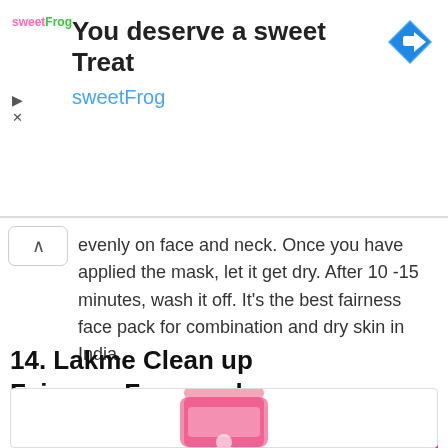[Figure (infographic): Advertisement banner for sweetFrog with logo, text 'You deserve a sweet Treat', 'sweetFrog', and a blue navigation arrow icon]
evenly on face and neck. Once you have applied the mask, let it get dry. After 10 -15 minutes, wash it off. It's the best fairness face pack for combination and dry skin in India.
Buy Now
14. Lakme Clean up Fairness Face pack
[Figure (photo): Pink Lakme Clean up Fairness Face pack tube product image, partially visible]